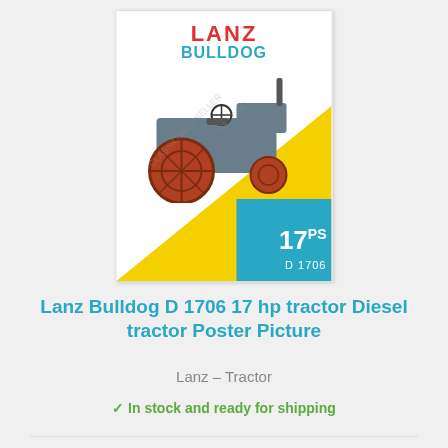[Figure (illustration): Lanz Bulldog D 1706 tractor poster with red LANZ text, cyan BULLDOG text, yellow triangle background, cyan rectangle in bottom-right with 17PS and D 1706 text, vintage tractor image]
Lanz Bulldog D 1706 17 hp tractor Diesel tractor Poster Picture
Lanz – Tractor
✓ In stock and ready for shipping
[Figure (illustration): Second Lanz Bulldog poster partially visible, yellow background with black LANZ BULLDOG text and tractor silhouette]